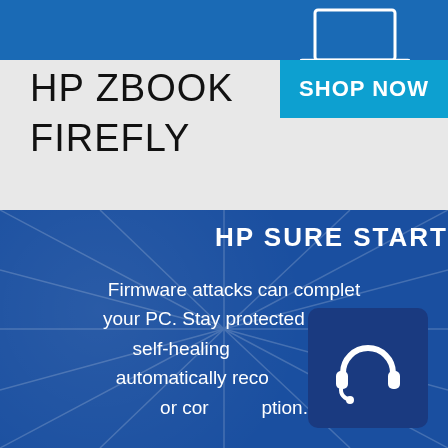HP ZBOOK FIREFLY
SHOP NOW
HP SURE START
Firmware attacks can completely compromise your PC. Stay protected with the industry's only self-healing BIOS, using hardware that automatically recovers from BIOS-based attacks or corruption.
[Figure (illustration): Customer support headset icon on dark blue rounded square background]